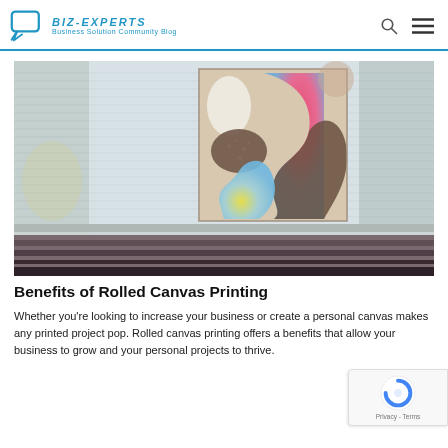BIZ-EXPERTS – Business Solution Community Blog
[Figure (photo): A colorful abstract canvas print displayed on a wall with horizontal blinds in the background. The artwork features organic shapes in pink, blue, yellow, and brown tones.]
Benefits of Rolled Canvas Printing
Whether you're looking to increase your business or create a personal canvas makes any printed project pop. Rolled canvas printing offers a benefits that allow your business to grow and your personal projects to thrive.